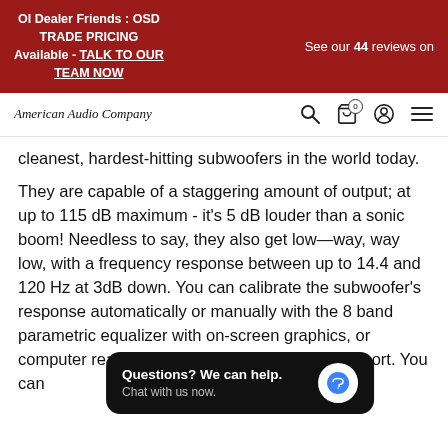OI Dealer Friends : OSD TRADE PRICING Available - TALK TO OUR TEAM NOW | See our 44 reviews on
American Audio Company
cleanest, hardest-hitting subwoofers in the world today.
They are capable of a staggering amount of output; at up to 115 dB maximum - it's 5 dB louder than a sonic boom! Needless to say, they also get low—way, way low, with a frequency response between up to 14.4 and 120 Hz at 3dB down. You can calibrate the subwoofer's response automatically or manually with the 8 band parametric equalizer with on-screen graphics, or computer rea[dable] mounted USB port. You can [enjoy a lot] of control by the digital servo.
Questions? We can help. Chat with us now.